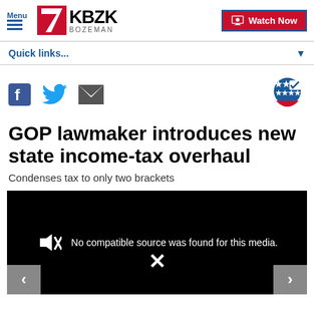Menu | KBZK BOZEMAN | Watch Now
Quick links...
[Figure (screenshot): Social media share icons: Facebook, Twitter, Email on the left; Vote badge icon on the right]
GOP lawmaker introduces new state income-tax overhaul
Condenses tax to only two brackets
[Figure (screenshot): Video player showing black screen with muted speaker icon and message: No compatible source was found for this media. Navigation arrows on left and right, X mark at bottom center.]